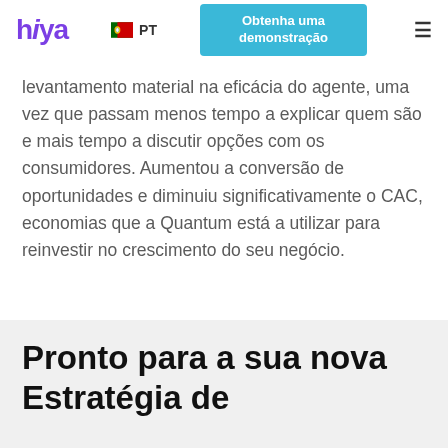hiya  PT  Obtenha uma demonstração  ☰
levantamento material na eficácia do agente, uma vez que passam menos tempo a explicar quem são e mais tempo a discutir opções com os consumidores. Aumentou a conversão de oportunidades e diminuiu significativamente o CAC, economias que a Quantum está a utilizar para reinvestir no crescimento do seu negócio.
Pronto para a sua nova Estratégia de